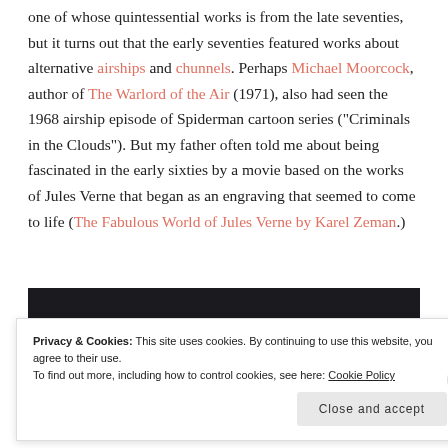one of whose quintessential works is from the late seventies, but it turns out that the early seventies featured works about alternative airships and chunnels. Perhaps Michael Moorcock, author of The Warlord of the Air (1971), also had seen the 1968 airship episode of Spiderman cartoon series ("Criminals in the Clouds"). But my father often told me about being fascinated in the early sixties by a movie based on the works of Jules Verne that began as an engraving that seemed to come to life (The Fabulous World of Jules Verne by Karel Zeman.)
[Figure (photo): Dark/black image area, partially visible at bottom of main content area]
Privacy & Cookies: This site uses cookies. By continuing to use this website, you agree to their use.
To find out more, including how to control cookies, see here: Cookie Policy
Close and accept